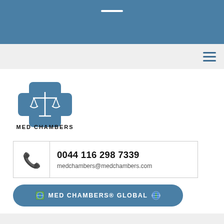[Figure (logo): Med Chambers logo: blue medical cross with white scales of justice icon, with text MED CHAMBERS below]
0044 116 298 7339
medchambers@medchambers.com
MED CHAMBERS® GLOBAL
WE OFFER: